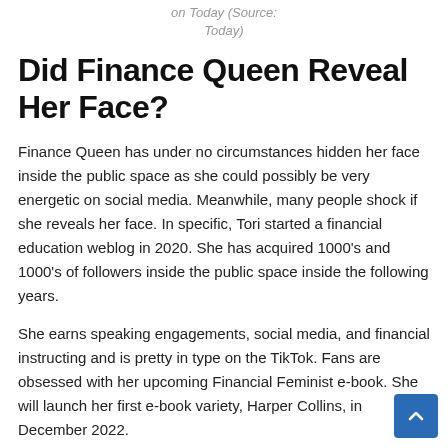on Today (Source: Today)
Did Finance Queen Reveal Her Face?
Finance Queen has under no circumstances hidden her face inside the public space as she could possibly be very energetic on social media. Meanwhile, many people shock if she reveals her face. In specific, Tori started a financial education weblog in 2020. She has acquired 1000's and 1000's of followers inside the public space inside the following years.
She earns speaking engagements, social media, and financial instructing and is pretty in type on the TikTok. Fans are obsessed with her upcoming Financial Feminist e-book. She will launch her first e-book variety, Harper Collins, in December 2022.